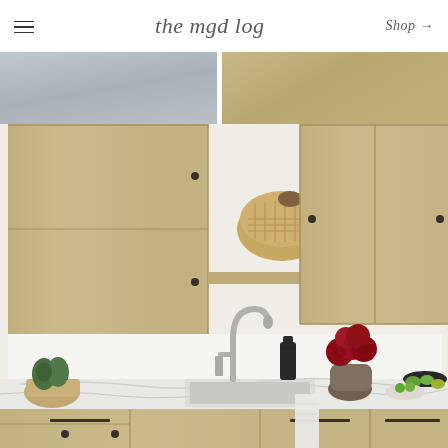the mgd log | Shop →
[Figure (photo): Two kitchen images cropped at top: left shows light marble/gray surface, right shows warm wood cabinetry]
[Figure (photo): Kitchen interior with warm oak wood cabinetry, open shelf with woven basket and decorative items, white marble countertop, silver faucet, red roses in gray vase, artichokes in basket, white towel, black hardware on cabinet drawers]